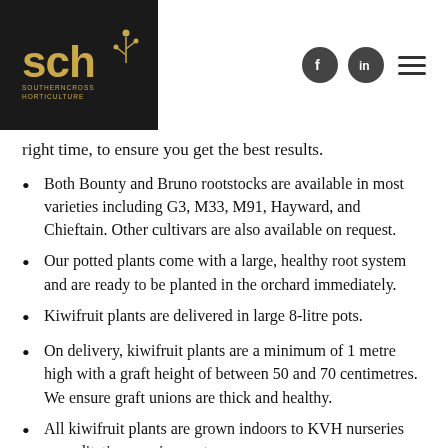SCH Southern Cross Horticulture
right time, to ensure you get the best results.
Both Bounty and Bruno rootstocks are available in most varieties including G3, M33, M91, Hayward, and Chieftain. Other cultivars are also available on request.
Our potted plants come with a large, healthy root system and are ready to be planted in the orchard immediately.
Kiwifruit plants are delivered in large 8-litre pots.
On delivery, kiwifruit plants are a minimum of 1 metre high with a graft height of between 50 and 70 centimetres. We ensure graft unions are thick and healthy.
All kiwifruit plants are grown indoors to KVH nurseries accreditation requirements.